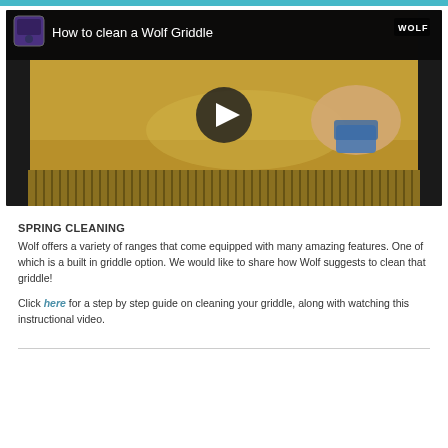[Figure (screenshot): YouTube video thumbnail showing 'How to clean a Wolf Griddle' with a play button overlay. Shows a griddle surface being scrubbed by hand with a blue scrubber. Wolf logo visible top right.]
SPRING CLEANING
Wolf offers a variety of ranges that come equipped with many amazing features. One of which is a built in griddle option. We would like to share how Wolf suggests to clean that griddle!
Click here for a step by step guide on cleaning your griddle, along with watching this instructional video.